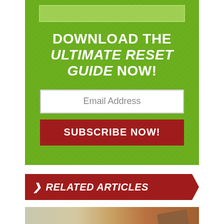DOWNLOAD THE ULTIMATE RESET GUIDE NOW!
Email Address
SUBSCRIBE NOW!
> RELATED ARTICLES
[Figure (photo): Photo strip at bottom showing a gavel and paper, partially visible]